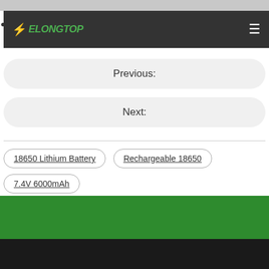ELONGTOP
Previous:
Next:
18650 Lithium Battery
Rechargeable 18650
7.4V 6000mAh